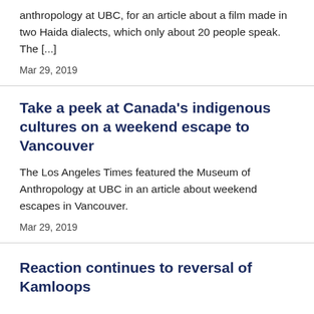anthropology at UBC, for an article about a film made in two Haida dialects, which only about 20 people speak. The [...]
Mar 29, 2019
Take a peek at Canada's indigenous cultures on a weekend escape to Vancouver
The Los Angeles Times featured the Museum of Anthropology at UBC in an article about weekend escapes in Vancouver.
Mar 29, 2019
Reaction continues to reversal of Kamloops